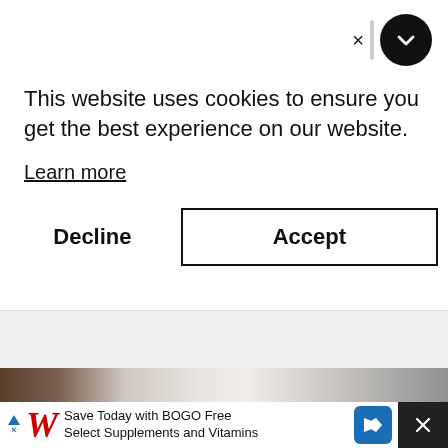This website uses cookies to ensure you get the best experience on our website.
Learn more
Decline
Accept
[Figure (screenshot): Partial screenshot of a website showing a white appliance (likely a washing machine) in a kitchen/laundry setting]
Save Today with BOGO Free Select Supplements and Vitamins